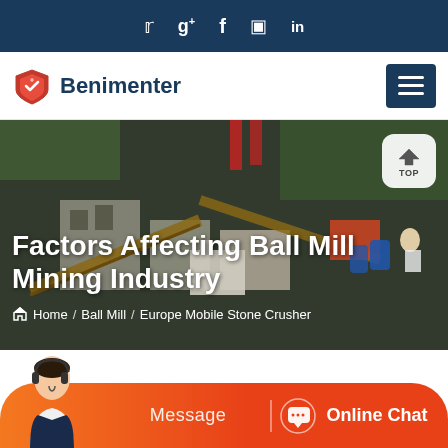Social media icons: Twitter, Google+, Facebook, Instagram, LinkedIn
[Figure (logo): Benimenter logo with shield icon and hamburger menu button]
[Figure (photo): Mining and crushing equipment site with conveyors and machinery]
Factors Affecting Ball Mill Mining Industry
Home / Ball Mill / Europe Mobile Stone Crusher
[Figure (illustration): Customer service agent with headset next to Message and Online Chat buttons]